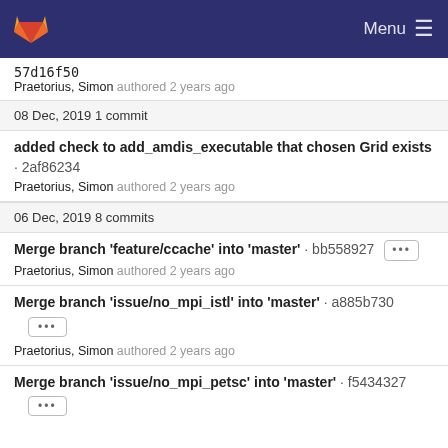GitLab Menu
57d16f50
Praetorius, Simon authored 2 years ago
08 Dec, 2019 1 commit
added check to add_amdis_executable that chosen Grid exists · 2af86234
Praetorius, Simon authored 2 years ago
06 Dec, 2019 8 commits
Merge branch 'feature/ccache' into 'master' · bb558927
Praetorius, Simon authored 2 years ago
Merge branch 'issue/no_mpi_istl' into 'master' · a885b730
Praetorius, Simon authored 2 years ago
Merge branch 'issue/no_mpi_petsc' into 'master' · f5434327